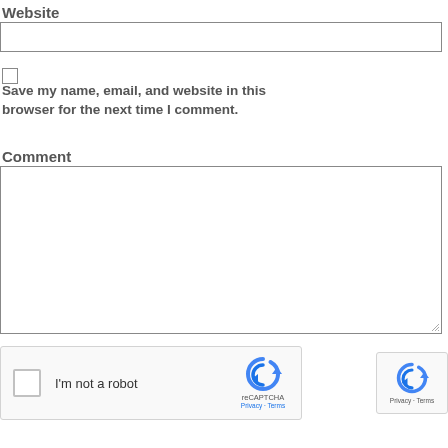Website
[Figure (screenshot): Empty text input field for Website URL]
[Figure (screenshot): Unchecked checkbox]
Save my name, email, and website in this browser for the next time I comment.
Comment
[Figure (screenshot): Large empty textarea for comment input with resize handle]
[Figure (screenshot): reCAPTCHA widget with checkbox labeled I'm not a robot and reCAPTCHA logo with Privacy and Terms links]
[Figure (screenshot): reCAPTCHA badge with logo and Privacy - Terms links]